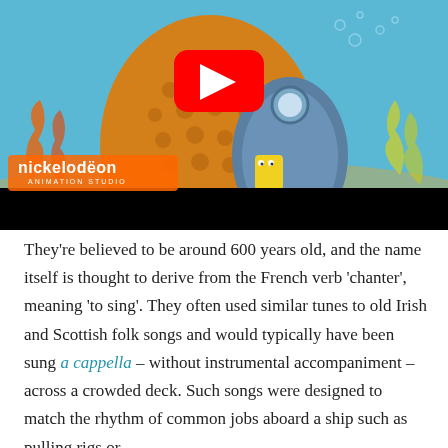[Figure (screenshot): YouTube video thumbnail showing SpongeBob SquarePants at the door of his pineapple house, with a YouTube play button overlay and Nickelodeon Animation Studio logo in the lower left. A black bar appears at the bottom of the video player.]
They're believed to be around 600 years old, and the name itself is thought to derive from the French verb 'chanter', meaning 'to sing'. They often used similar tunes to old Irish and Scottish folk songs and would typically have been sung a cappella – without instrumental accompaniment – across a crowded deck. Such songs were designed to match the rhythm of common jobs aboard a ship such as pulling rigs or